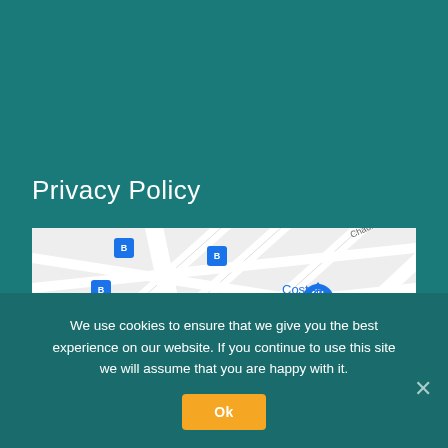Privacy Policy
[Figure (map): Street map showing an area with streets labeled 'de Merode', 'Chau. de ...', locations including 'Costela' (blue pin with bag icon) and 'La Tricoterie -' (orange icon), and transit stop icons (blue square icons).]
We use cookies to ensure that we give you the best experience on our website. If you continue to use this site we will assume that you are happy with it.